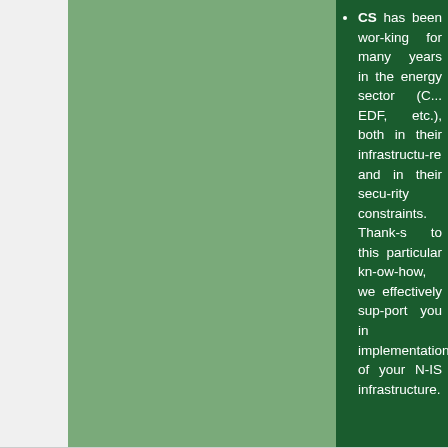CS has been working for many years in the energy sector (C... EDF, etc.), both in their infrastructure and in their security constraints. Thanks to this particular know-how, we effectively support you in the implementation of your NIS infrastructure.